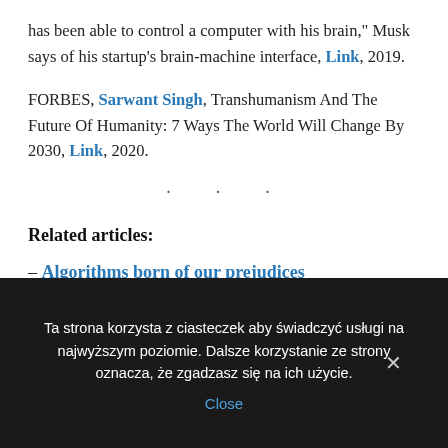has been able to control a computer with his brain," Musk says of his startup's brain-machine interface, Link, 2019.
FORBES, Sarwant Singh, Transhumanism And The Future Of Humanity: 7 Ways The World Will Change By 2030, Link, 2020.
. . .
Related articles:
– Algorithms born of our prejudices
Ta strona korzysta z ciasteczek aby świadczyć usługi na najwyższym poziomie. Dalsze korzystanie ze strony oznacza, że zgadzasz się na ich użycie. Close